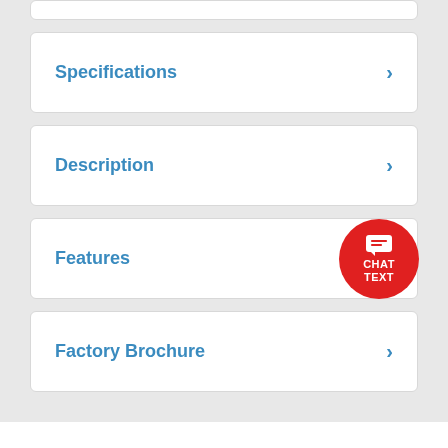Specifications
Description
Features
Factory Brochure
[Figure (illustration): Red circular chat/text button with speech bubble icon and labels CHAT TEXT]
We are here to help!